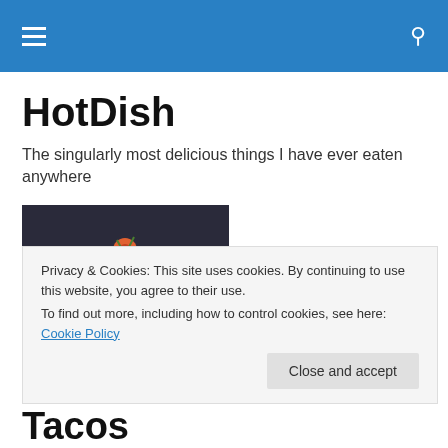HotDish – navigation bar with hamburger menu and search icon
HotDish
The singularly most delicious things I have ever eaten anywhere
[Figure (photo): Food photograph showing a tiered dessert/afternoon tea stand with decorative items including a cup with orange flower, mushroom-shaped sweets, and chocolate treats on a pink plate]
Privacy & Cookies: This site uses cookies. By continuing to use this website, you agree to their use.
To find out more, including how to control cookies, see here: Cookie Policy
Close and accept
Tacos